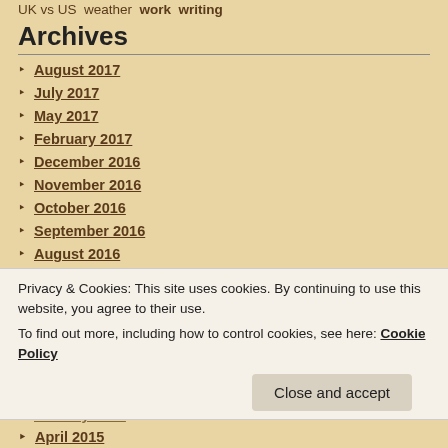UK vs US  weather  work  writing
Archives
August 2017
July 2017
May 2017
February 2017
December 2016
November 2016
October 2016
September 2016
August 2016
July 2016
June 2016
May 2016
April 2016
March 2016
February 2016
January 2016
Privacy & Cookies: This site uses cookies. By continuing to use this website, you agree to their use. To find out more, including how to control cookies, see here: Cookie Policy
April 2015